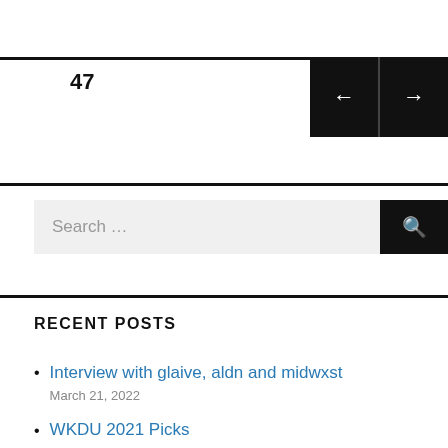47
Search ...
RECENT POSTS
Interview with glaive, aldn and midwxst
March 21, 2022
WKDU 2021 Picks